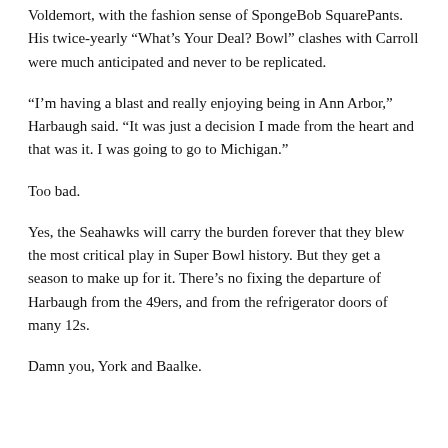Voldemort, with the fashion sense of SpongeBob SquarePants. His twice-yearly “What’s Your Deal? Bowl” clashes with Carroll were much anticipated and never to be replicated.
“I’m having a blast and really enjoying being in Ann Arbor,” Harbaugh said. “It was just a decision I made from the heart and that was it. I was going to go to Michigan.”
Too bad.
Yes, the Seahawks will carry the burden forever that they blew the most critical play in Super Bowl history. But they get a season to make up for it. There’s no fixing the departure of Harbaugh from the 49ers, and from the refrigerator doors of many 12s.
Damn you, York and Baalke.